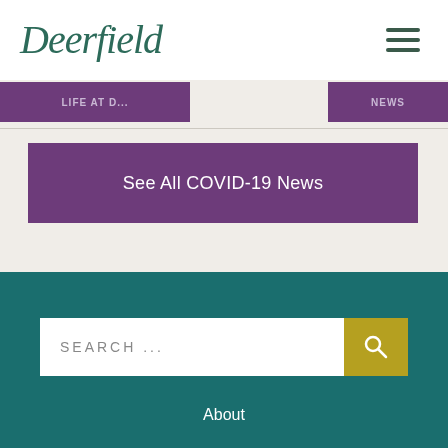[Figure (logo): Deerfield cursive logo in dark teal/green color]
[Figure (other): Hamburger menu icon with three horizontal lines]
[Figure (other): Two purple navigation buttons partially visible]
See All COVID-19 News
SEARCH ...
About